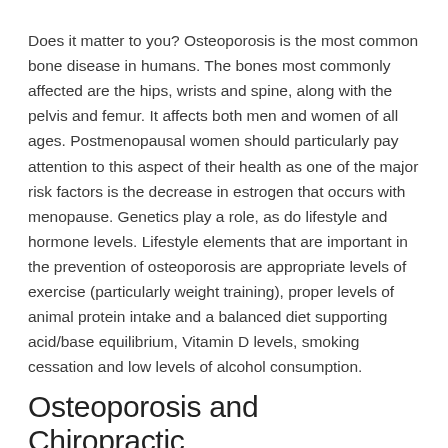Does it matter to you? Osteoporosis is the most common bone disease in humans. The bones most commonly affected are the hips, wrists and spine, along with the pelvis and femur. It affects both men and women of all ages. Postmenopausal women should particularly pay attention to this aspect of their health as one of the major risk factors is the decrease in estrogen that occurs with menopause. Genetics play a role, as do lifestyle and hormone levels. Lifestyle elements that are important in the prevention of osteoporosis are appropriate levels of exercise (particularly weight training), proper levels of animal protein intake and a balanced diet supporting acid/base equilibrium, Vitamin D levels, smoking cessation and low levels of alcohol consumption.
Osteoporosis and Chiropractic